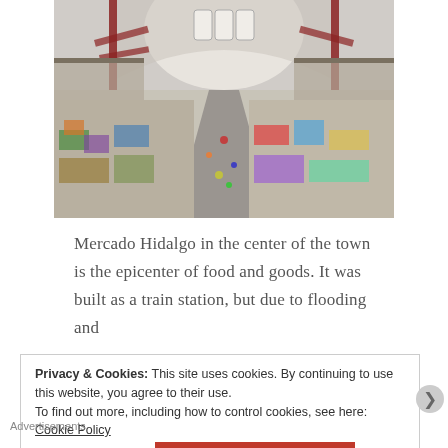[Figure (photo): Interior of Mercado Hidalgo, a large market hall with a red steel arched roof structure and tall arched windows, filled with colorful market stalls and vendors below.]
Mercado Hidalgo in the center of the town is the epicenter of food and goods. It was built as a train station, but due to flooding and
Privacy & Cookies: This site uses cookies. By continuing to use this website, you agree to their use.
To find out more, including how to control cookies, see here: Cookie Policy
Close and accept
Advertisements